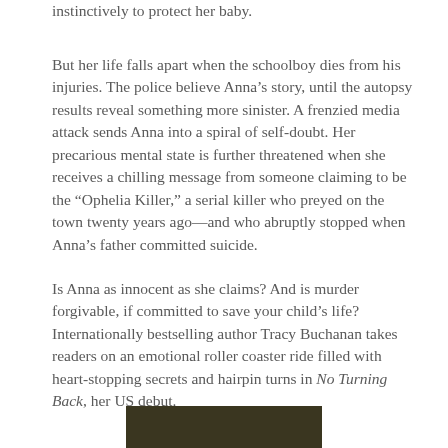instinctively to protect her baby.
But her life falls apart when the schoolboy dies from his injuries. The police believe Anna’s story, until the autopsy results reveal something more sinister. A frenzied media attack sends Anna into a spiral of self-doubt. Her precarious mental state is further threatened when she receives a chilling message from someone claiming to be the “Ophelia Killer,” a serial killer who preyed on the town twenty years ago—and who abruptly stopped when Anna’s father committed suicide.
Is Anna as innocent as she claims? And is murder forgivable, if committed to save your child’s life? Internationally bestselling author Tracy Buchanan takes readers on an emotional roller coaster ride filled with heart-stopping secrets and hairpin turns in No Turning Back, her US debut.
[Figure (photo): Dark-toned photograph, partially visible at bottom of page]